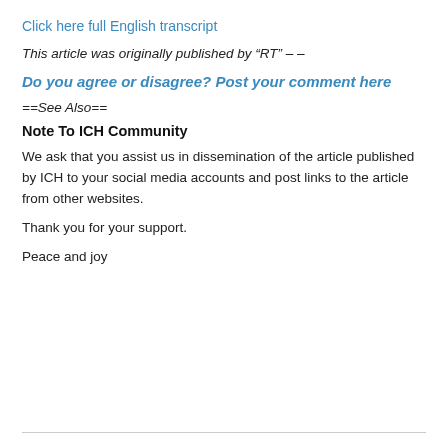Click here full English transcript
This article was originally published by “RT” – –
Do you agree or disagree? Post your comment here
==See Also==
Note To ICH Community
We ask that you assist us in dissemination of the article published by ICH to your social media accounts and post links to the article from other websites.
Thank you for your support.
Peace and joy